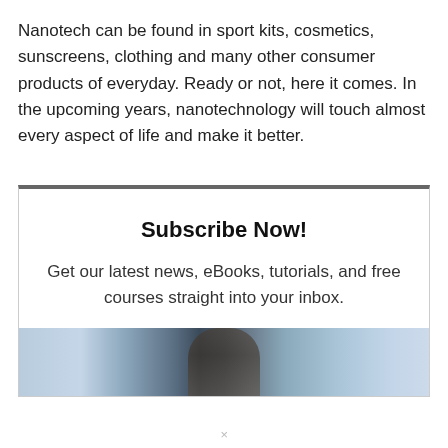Nanotech can be found in sport kits, cosmetics, sunscreens, clothing and many other consumer products of everyday. Ready or not, here it comes. In the upcoming years, nanotechnology will touch almost every aspect of life and make it better.
Subscribe Now!
Get our latest news, eBooks, tutorials, and free courses straight into your inbox.
[Figure (photo): A blurred photo showing a person's face with a blue-toned technology background, used as a newsletter subscription teaser image.]
×